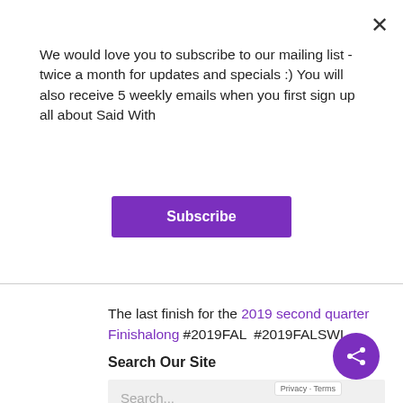We would love you to subscribe to our mailing list - twice a month for updates and specials :) You will also receive 5 weekly emails when you first sign up all about Said With
Subscribe
The last finish for the 2019 second quarter Finishalong #2019FAL #2019FALSWL
Search Our Site
Search...